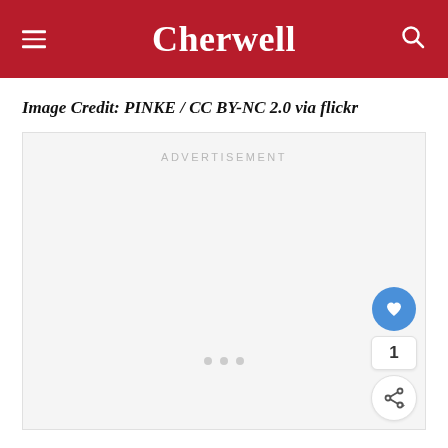Cherwell
Image Credit: PINKE / CC BY-NC 2.0 via flickr
[Figure (other): Advertisement placeholder box with 'ADVERTISEMENT' label in light gray text, loading dots at bottom, and floating action buttons (heart/like button in blue, count showing 1, and share button) on the right side.]